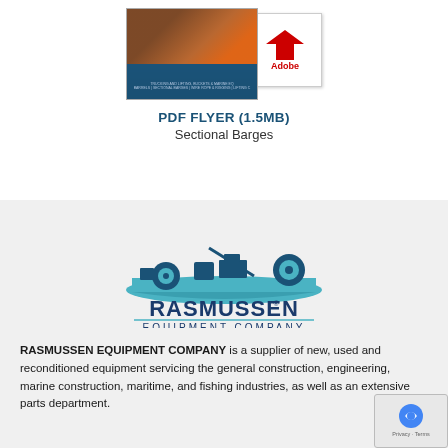[Figure (screenshot): Thumbnail of a PDF flyer showing a barge/marine equipment document cover, with an Adobe PDF icon overlaid on the top right corner]
PDF FLYER (1.5MB)
Sectional Barges
[Figure (logo): Rasmussen Equipment Company logo: illustration of heavy equipment on a barge/boat above the company name in dark blue. RASMUSSEN in large letters with registered trademark symbol, EQUIPMENT COMPANY beneath in smaller spaced letters.]
RASMUSSEN EQUIPMENT COMPANY is a supplier of new, used and reconditioned equipment servicing the general construction, engineering, marine construction, maritime, and fishing industries, as well as an extensive parts department.